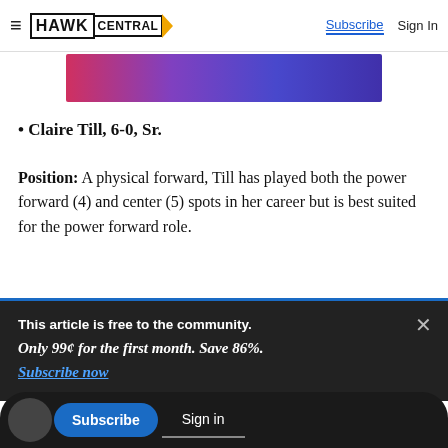HAWK CENTRAL — Subscribe | Sign In
[Figure (illustration): Purple-pink gradient banner advertisement]
• Claire Till, 6-0, Sr.
Position: A physical forward, Till has played both the power forward (4) and center (5) spots in her career but is best suited for the power forward role.
This article is free to the community.
Only 99¢ for the first month. Save 86%.
Subscribe now
e past two seasons and can give the Hawkeyes